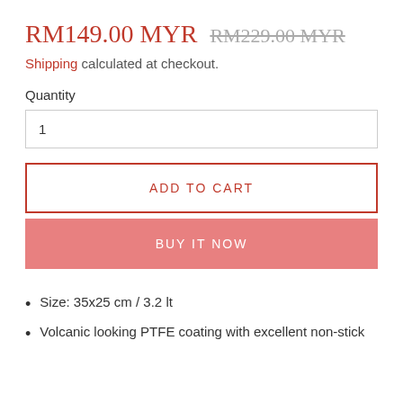RM149.00 MYR  RM229.00 MYR
Shipping calculated at checkout.
Quantity
1
ADD TO CART
BUY IT NOW
Size: 35x25 cm / 3.2 lt
Volcanic looking PTFE coating with excellent non-stick